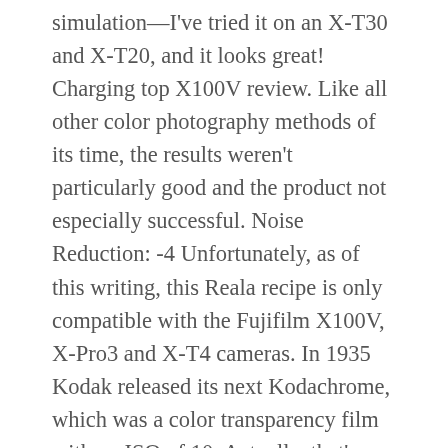simulation—I've tried it on an X-T30 and X-T20, and it looks great! Charging top X100V review. Like all other color photography methods of its time, the results weren't particularly good and the product not especially successful. Noise Reduction: -4 Unfortunately, as of this writing, this Reala recipe is only compatible with the Fujifilm X100V, X-Pro3 and X-T4 cameras. In 1935 Kodak released its next Kodachrome, which was a color transparency film with an ISO of 10. Actually, that's how My Ektachrome 100SW recipe came to be: a Fuji X Weekly reader took my Kodachrome II recipe and replaced Classic Chrome with Velvia. White Balance: Daylight, -1 Red & -3 Blue ISO: Auto, up to ISO 6400 This recipe is only compatible (as of this writing) with the Fujifilm X100V, X-Pro3 and X-T4. Examples of black-and-white toning on the Fujifilm X100V: See